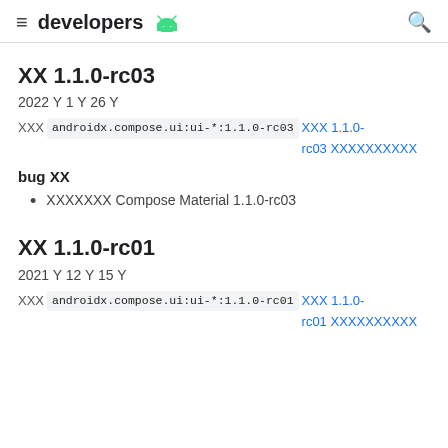≡ developers 🤖 🔍
버전 1.1.0-rc03
2022년 1 월 26 일
버전에 androidx.compose.ui:ui-*:1.1.0-rc03 버전 1.1.0-rc03 의존성을업데이트하세요
bug 수정
이제 지원됩니다 Compose Material 1.1.0-rc03
버전 1.1.0-rc01
2021년 12 월 15 일
버전에 androidx.compose.ui:ui-*:1.1.0-rc01 버전 1.1.0-rc01 의존성을업데이트하세요